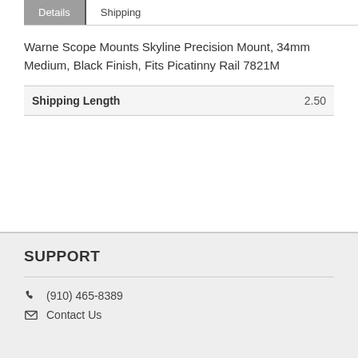Details | Shipping
Warne Scope Mounts Skyline Precision Mount, 34mm Medium, Black Finish, Fits Picatinny Rail 7821M
| Shipping Length | 2.50 |
| --- | --- |
SUPPORT
(910) 465-8389
Contact Us